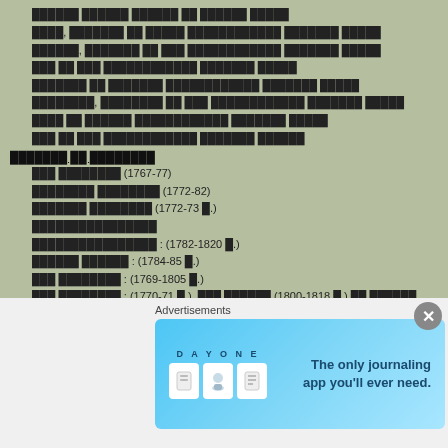██████ ██████ ██████ ██ ██████ █████
████, ███████ ██ █████ ████████████ ███████ █████
██████, ███████ ██ ███ ████████████ ███████ █████
███ ██ ███ ████████████ ███████ █████
███████ ██ ███████ ████████████ ███████ █████
████████, ████████ ██ ███ ████████████ ███████ █████
████ ██ ██████ ████████████ ███████ █████
███ ██ ███ ████████████ ███████ ██████
███████ ██ ████████
███ ████████ (1767-77)
████████ ████████ (1772-82)
███████ ████████ (1772-73 █.)
████████████████
████████████████ : (1782-1820 █.)
██████ ██████ : (1784-85 █.)
███ ████████ : (1769-1805 █.)
███ ████████ : (1770-71 █.), ███ ██████ (1800-1818 █.) ██ ██████ ████████ (1771 █.)
██ ████████ : (1820-21 █.)
████ ████████ : (1831-32 █.)
████ ████████ (1832-33 █.)
[Figure (screenshot): Advertisement banner for Day One journaling app with blue gradient background, app icons, and text 'The only journaling app you'll ever need.']